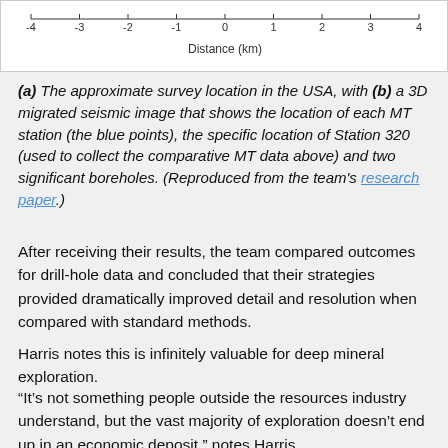[Figure (other): Bottom portion of a figure showing an x-axis labeled 'Distance (km)' with tick marks at -4, -3, -2, -1, 0, 1, 2, 3, 4]
(a) The approximate survey location in the USA, with (b) a 3D migrated seismic image that shows the location of each MT station (the blue points), the specific location of Station 320 (used to collect the comparative MT data above) and two significant boreholes. (Reproduced from the team's research paper.)
After receiving their results, the team compared outcomes for drill-hole data and concluded that their strategies provided dramatically improved detail and resolution when compared with standard methods.
Harris notes this is infinitely valuable for deep mineral exploration.
“It’s not something people outside the resources industry understand, but the vast majority of exploration doesn’t end up in an economic deposit,” notes Harris.